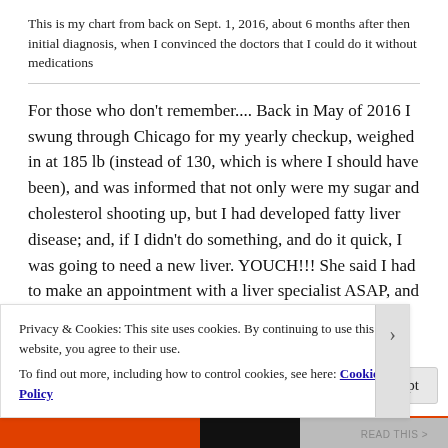This is my chart from back on Sept. 1, 2016, about 6 months after then initial diagnosis, when I convinced the doctors that I could do it without medications
For those who don't remember.... Back in May of 2016 I swung through Chicago for my yearly checkup, weighed in at 185 lb (instead of 130, which is where I should have been), and was informed that not only were my sugar and cholesterol shooting up, but I had developed fatty liver disease; and, if I didn't do something, and do it quick, I was going to need a new liver. YOUCH!!! She said I had to make an appointment with a liver specialist ASAP, and I
Privacy & Cookies: This site uses cookies. By continuing to use this website, you agree to their use.
To find out more, including how to control cookies, see here: Cookie Policy